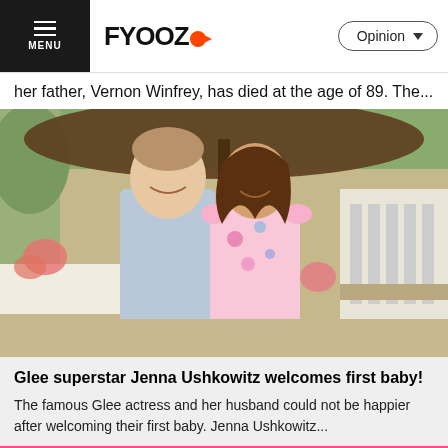FYOOZ | Opinion
her father, Vernon Winfrey, has died at the age of 89. The...
[Figure (photo): A couple standing outdoors under a large brown umbrella at an event. The man on the left is tall, wearing a light blue button-up shirt, smiling. The woman on the right is wearing a pink floral sleeveless dress and smiling. There are flowers, white tables, and glassware in the background.]
Glee superstar Jenna Ushkowitz welcomes first baby!
The famous Glee actress and her husband could not be happier after welcoming their first baby. Jenna Ushkowitz...